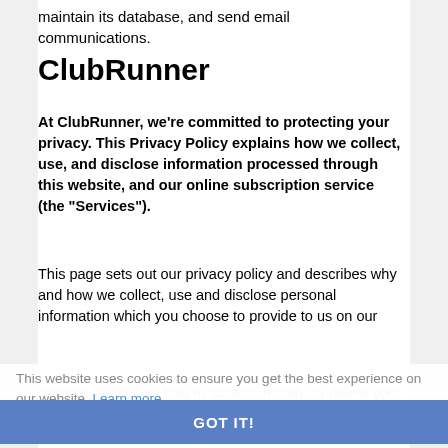maintain its database, and send email communications.
ClubRunner
At ClubRunner, we're committed to protecting your privacy. This Privacy Policy explains how we collect, use, and disclose information processed through this website, and our online subscription service (the "Services").
This page sets out our privacy policy and describes why and how we collect, use and disclose personal information which you choose to provide to us on our website, as well as how to access, modify, or delete your personal information. This policy doesn't apply to anyone who isn't under our control or management, such as the operators of other websites that you might link to from our website. Such operators may have their own privacy policies, which might differ from ours.
This website uses cookies to ensure you get the best experience on our website. Learn more
GOT IT!